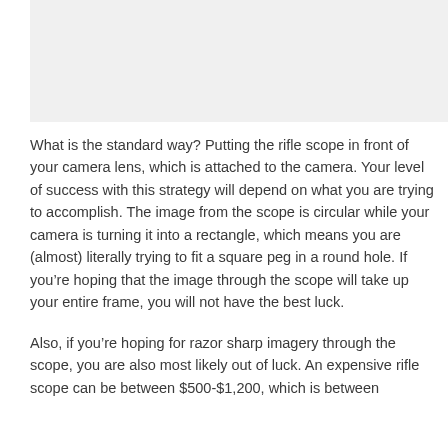[Figure (photo): Image placeholder at top of page, light gray background]
What is the standard way? Putting the rifle scope in front of your camera lens, which is attached to the camera. Your level of success with this strategy will depend on what you are trying to accomplish. The image from the scope is circular while your camera is turning it into a rectangle, which means you are (almost) literally trying to fit a square peg in a round hole. If you're hoping that the image through the scope will take up your entire frame, you will not have the best luck.
Also, if you're hoping for razor sharp imagery through the scope, you are also most likely out of luck. An expensive rifle scope can be between $500-$1,200, which is between